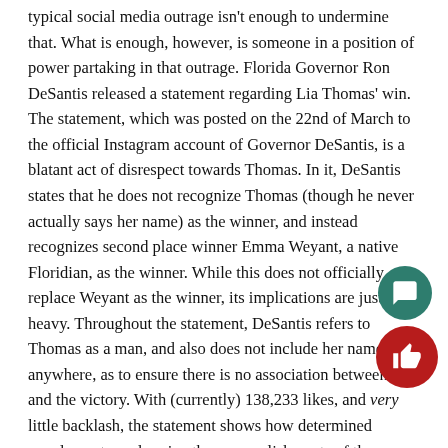typical social media outrage isn't enough to undermine that. What is enough, however, is someone in a position of power partaking in that outrage. Florida Governor Ron DeSantis released a statement regarding Lia Thomas' win. The statement, which was posted on the 22nd of March to the official Instagram account of Governor DeSantis, is a blatant act of disrespect towards Thomas. In it, DeSantis states that he does not recognize Thomas (though he never actually says her name) as the winner, and instead recognizes second place winner Emma Weyant, a native Floridian, as the winner. While this does not officially replace Weyant as the winner, its implications are just as heavy. Throughout the statement, DeSantis refers to Thomas as a man, and also does not include her name anywhere, as to ensure there is no association between her and the victory. With (currently) 138,233 likes, and very little backlash, the statement shows how determined people are to undermine the accomplishments of those they do not like.

Lia's victory is still hers, no one has taken that away officially. But with the insurgence of articles, statements, and posts in defiance of her, Lia's victory has been twisted into something it shouldn't have been: a scandal. And with so much focus on debating Lia's victory, the